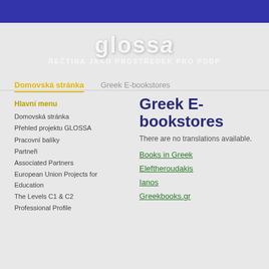[Figure (logo): Glossa logo with text 'glossa' and subtitle 'ŘEČTINA JAKO PROSTŘEDEK PRO PODP']
Domovská stránka
Greek E-bookstores
Hlavní menu
Domovská stránka
Přehled projektu GLOSSA
Pracovní balíky
Partneři
Associated Partners
European Union Projects for Education
The Levels C1 & C2
Professional Profile
Greek E-bookstores
There are no translations available.
Books in Greek
Eleftheroudakis
Ianos
Greekbooks.gr